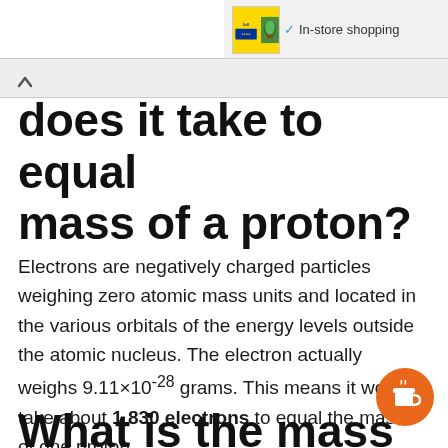[Figure (other): Advertisement banner for Lidl with In-store shopping text and ad controls]
does it take to equal mass of a proton?
Electrons are negatively charged particles weighing zero atomic mass units and located in the various orbitals of the energy levels outside the atomic nucleus. The electron actually weighs 9.11×10⁻²⁸ grams. This means it would take about 1 830 electrons to equal the mass of one proton.
What is the mass of a